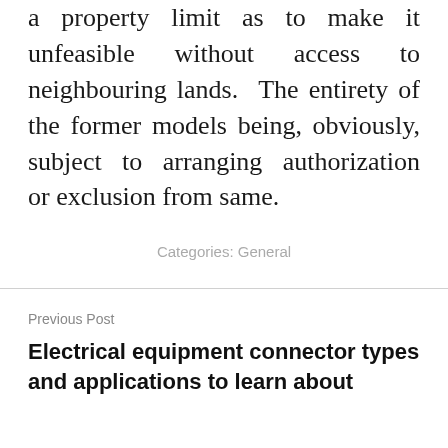a property limit as to make it unfeasible without access to neighbouring lands. The entirety of the former models being, obviously, subject to arranging authorization or exclusion from same.
Categories: General
Previous Post
Electrical equipment connector types and applications to learn about